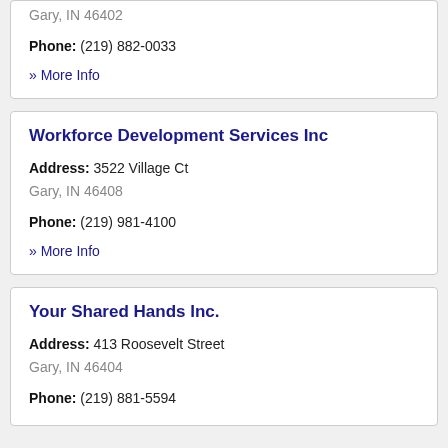Gary, IN 46402
Phone: (219) 882-0033
» More Info
Workforce Development Services Inc
Address: 3522 Village Ct
Gary, IN 46408
Phone: (219) 981-4100
» More Info
Your Shared Hands Inc.
Address: 413 Roosevelt Street
Gary, IN 46404
Phone: (219) 881-5594